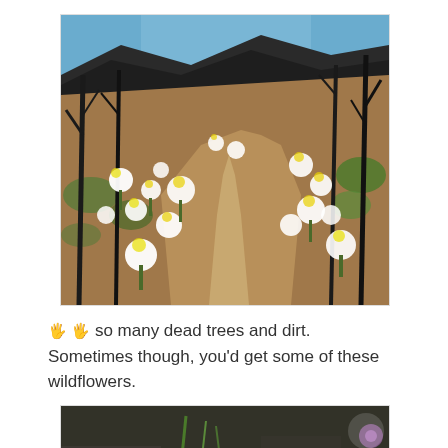[Figure (photo): A dirt hiking trail winding up a hillside flanked by white wildflowers growing among dry brown earth and charred black dead trees, with green shrubs and mountains visible in the background under a blue sky.]
🖐 🖐 so many dead trees and dirt. Sometimes though, you'd get some of these wildflowers.
[Figure (photo): Partial view of a close-up nature photo showing green plant stems and what appears to be a small purple flower on a rocky/dark surface.]